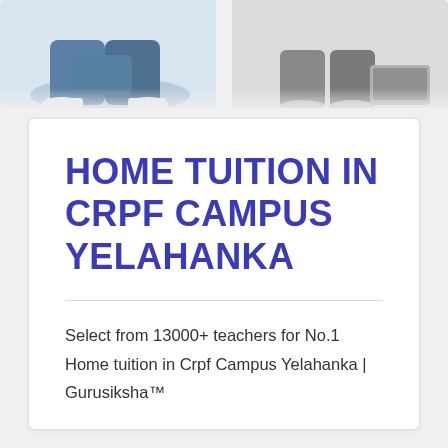[Figure (photo): Photo strip at top showing students sitting cross-legged, cropped to show lower body/legs area on left and right sides]
HOME TUITION IN CRPF CAMPUS YELAHANKA
Select from 13000+ teachers for No.1 Home tuition in Crpf Campus Yelahanka | Gurusiksha™